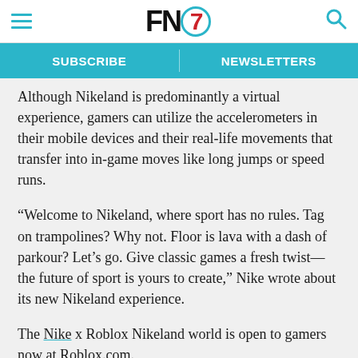FN7 — Footwear News header with navigation hamburger, logo, and search icon
Although Nikeland is predominantly a virtual experience, gamers can utilize the accelerometers in their mobile devices and their real-life movements that transfer into in-game moves like long jumps or speed runs.
“Welcome to Nikeland, where sport has no rules. Tag on trampolines? Why not. Floor is lava with a dash of parkour? Let’s go. Give classic games a fresh twist—the future of sport is yours to create,” Nike wrote about its new Nikeland experience.
The Nike x Roblox Nikeland world is open to gamers now at Roblox.com.
In related Nike news, the Swoosh has teamed up with Swarovski to deliver two special Air Force 1 collabs next